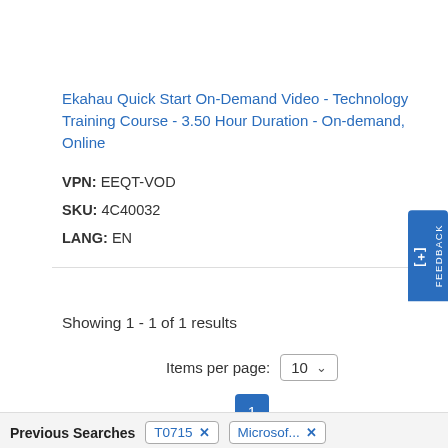Ekahau Quick Start On-Demand Video - Technology Training Course - 3.50 Hour Duration - On-demand, Online
VPN: EEQT-VOD
SKU: 4C40032
LANG: EN
Showing 1 - 1 of 1 results
Items per page: 10
1
Previous Searches
T0715 ✕
Microsof... ✕